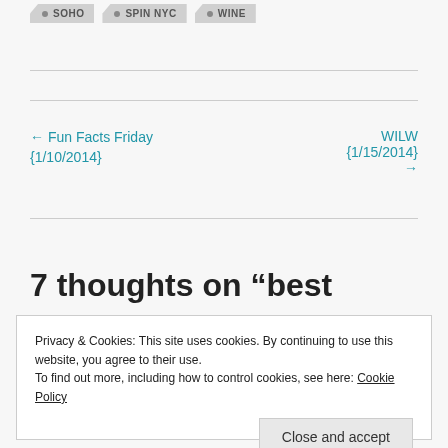SOHO
SPIN NYC
WINE
← Fun Facts Friday {1/10/2014}
WILW {1/15/2014} →
7 thoughts on “best
Privacy & Cookies: This site uses cookies. By continuing to use this website, you agree to their use.
To find out more, including how to control cookies, see here: Cookie Policy
Close and accept